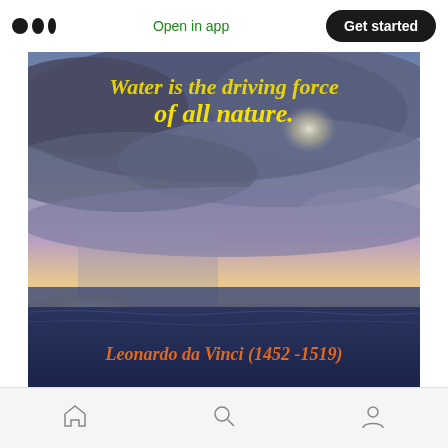Open in app | Get started
[Figure (photo): A dramatic seascape photograph with a stormy sky over dark ocean water, showing dramatic clouds with light breaking through. Yellow italic text overlay reads 'Water is the driving force of all nature.' and orange italic text at the bottom reads 'Leonardo da Vinci (1452 -1519)']
Home | Search | Profile navigation icons